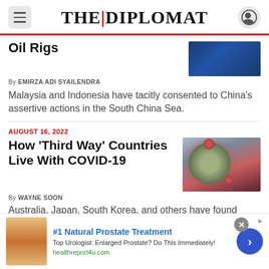THE|DIPLOMAT
Oil Rigs
By EMIRZA ADI SYAILENDRA
Malaysia and Indonesia have tacitly consented to China's assertive actions in the South China Sea.
AUGUST 16, 2022
How 'Third Way' Countries Live With COVID-19
By WAYNE SOON
Australia, Japan, South Korea, and others have found middle ground between a full return to pre-pandemic normalcy and attempts to cling to “zero COVID.”
[Figure (photo): Advertisement: #1 Natural Prostate Treatment - Top Urologist: Enlarged Prostate? Do This Immediately! healthreport4u.com]